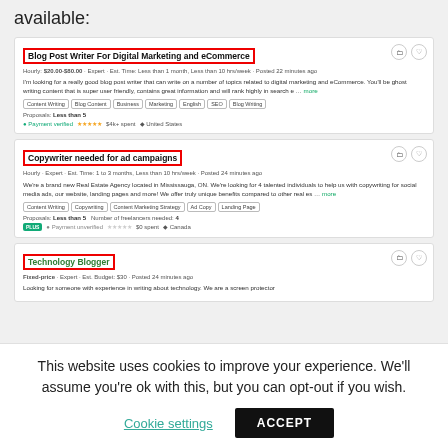available:
Blog Post Writer For Digital Marketing and eCommerce
Hourly: $20.00-$80.00 · Expert · Est. Time: Less than 1 month, Less than 10 hrs/week · Posted 22 minutes ago
I'm looking for a really good blog post writer that can write on a number of topics related to digital marketing and eCommerce. You'll be ghost writing content that is super user friendly, contains great information and will rank highly in search e … more
Content Writing  Blog Content  Business  Marketing  English  SEO  Blog Writing
Proposals: Less than 5
✓ Payment verified ★★★★★ $4k+ spent ♦ United States
Copywriter needed for ad campaigns
Hourly · Expert · Est. Time: 1 to 3 months, Less than 10 hrs/week · Posted 24 minutes ago
We're a brand new Real Estate Agency located in Mississauga, ON. We're looking for 4 talented individuals to help us with copywriting for social media ads, our website, landing pages and more! We offer truly unique benefits compared to other real es … more
Content Writing  Copywriting  Content Marketing Strategy  Ad Copy  Landing Page
Proposals: Less than 5  Number of freelancers needed: 4
PLUS ✓ Payment unverified ★★★★★ $0 spent ♦ Canada
Technology Blogger
Fixed-price · Expert · Est. Budget: $30 · Posted 24 minutes ago
Looking for someone with experience in writing about technology. We are a screen protector
This website uses cookies to improve your experience. We'll assume you're ok with this, but you can opt-out if you wish.
Cookie settings
ACCEPT